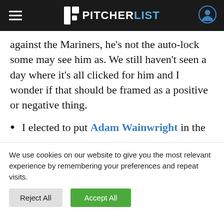PITCHERLIST
against the Mariners, he’s not the auto-lock some may see him as. We still haven’t seen a day where it’s all clicked for him and I wonder if that should be framed as a positive or negative thing.
I elected to put Adam Wainwright in the
We use cookies on our website to give you the most relevant experience by remembering your preferences and repeat visits.